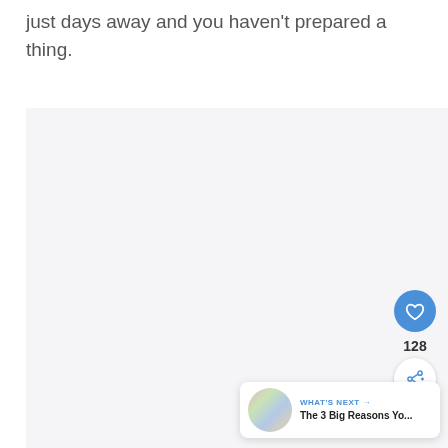just days away and you haven't prepared a thing.
[Figure (other): Light gray image/content area placeholder]
[Figure (other): Blue circular like/heart button with heart icon, like count 128, and share button circle]
128
WHAT'S NEXT → The 3 Big Reasons Yo...